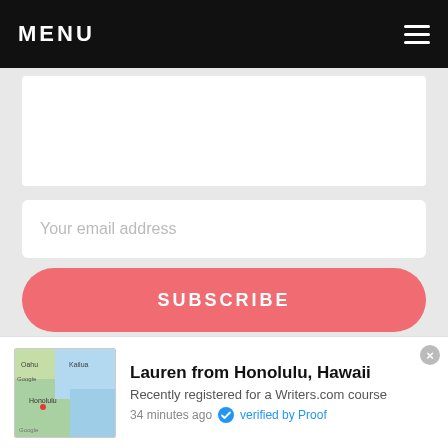MENU
[Figure (other): White content box (partially visible, cropped at top)]
Your email address
SUBSCRIBE
Article Categories
Lauren from Honolulu, Hawaii
Recently registered for a Writers.com course
34 minutes ago  verified by Proof